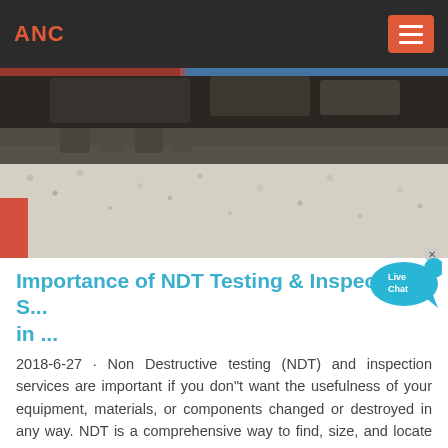ANC
[Figure (photo): Close-up of heavy construction equipment/paving machine working on a gravel or asphalt surface, view from above showing machinery blade pressing material]
Importance of NDT Testing & Inspection S... in ...
2018-6-27 · Non Destructive testing (NDT) and inspection services are important if you don"t want the usefulness of your equipment, materials, or components changed or destroyed in any way. NDT is a comprehensive way to find, size, and locate surface and subsurface flaws and defects that could have an adverse impact on safety, reliability, and the ...
[Figure (photo): Partial view of an outdoor landscape/terrain scene at the bottom of the page, showing what appears to be a dirt or sandy area with trees in the background]